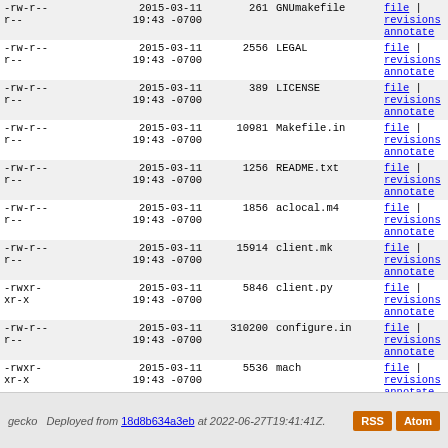| Permissions | Date | Size | Name | Links |
| --- | --- | --- | --- | --- |
| -rw-r--
r-- | 2015-03-11
19:43 -0700 | 261 | GNUmakefile | file | revisions | annotate |
| -rw-r--
r-- | 2015-03-11
19:43 -0700 | 2556 | LEGAL | file | revisions | annotate |
| -rw-r--
r-- | 2015-03-11
19:43 -0700 | 389 | LICENSE | file | revisions | annotate |
| -rw-r--
r-- | 2015-03-11
19:43 -0700 | 10981 | Makefile.in | file | revisions | annotate |
| -rw-r--
r-- | 2015-03-11
19:43 -0700 | 1256 | README.txt | file | revisions | annotate |
| -rw-r--
r-- | 2015-03-11
19:43 -0700 | 1856 | aclocal.m4 | file | revisions | annotate |
| -rw-r--
r-- | 2015-03-11
19:43 -0700 | 15914 | client.mk | file | revisions | annotate |
| -rwxr-
xr-x | 2015-03-11
19:43 -0700 | 5846 | client.py | file | revisions | annotate |
| -rw-r--
r-- | 2015-03-11
19:43 -0700 | 310200 | configure.in | file | revisions | annotate |
| -rwxr-
xr-x | 2015-03-11
19:43 -0700 | 5536 | mach | file | revisions | annotate |
| -rw-r--
r-- | 2015-03-11
19:43 -0700 | 1915 | moz.build | file | revisions | annotate |
| -rw-r--
r-- | 2015-03-11
19:43 -0700 | 2313 | mozilla-config.h.in | file | revisions | annotate |
gecko  Deployed from 18d8b634a3eb at 2022-06-27T19:41:41Z.